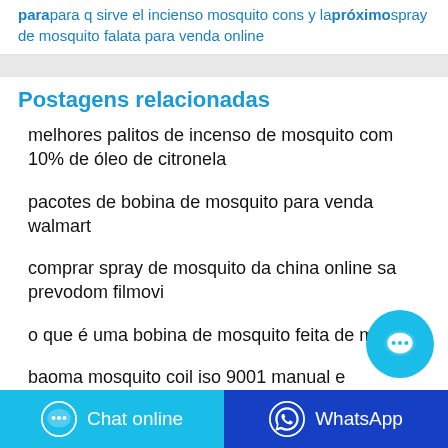para para q sirve el incienso mosquito cons y la próximo spray de mosquito falata para venda online
Postagens relacionadas
melhores palitos de incenso de mosquito com 10% de óleo de citronela
pacotes de bobina de mosquito para venda walmart
comprar spray de mosquito da china online sa prevodom filmovi
o que é uma bobina de mosquito feita de material
baoma mosquito coil iso 9001 manual e
Chat online   WhatsApp